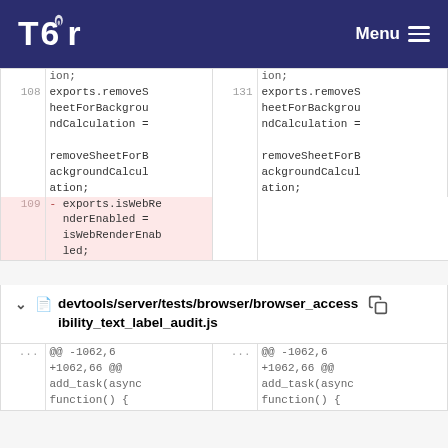Tor — Menu
[Figure (screenshot): Code diff showing removal of exports.isWebRenderEnabled line (line 109) on left side. Lines 108/131 show exports.removeSheetForBackgroundCalculation = removeSheetForBackgroundCalculation; on both sides.]
devtools/server/tests/browser/browser_accessibility_text_label_audit.js
[Figure (screenshot): Code diff header showing @@ -1062,6 +1062,66 @@ add_task(async function() { on both sides]